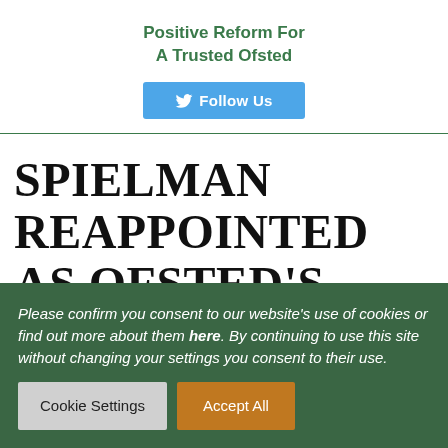Positive Reform For A Trusted Ofsted
[Figure (other): Twitter Follow Us button — blue rectangular button with Twitter bird icon and text 'Follow Us']
SPIELMAN REAPPOINTED AS OFSTED'S CHIEF INSPECTOR OF EDUCATION AND CHILDREN'S SERVICES
Please confirm you consent to our website's use of cookies or find out more about them here. By continuing to use this site without changing your settings you consent to their use.
Cookie Settings   Accept All